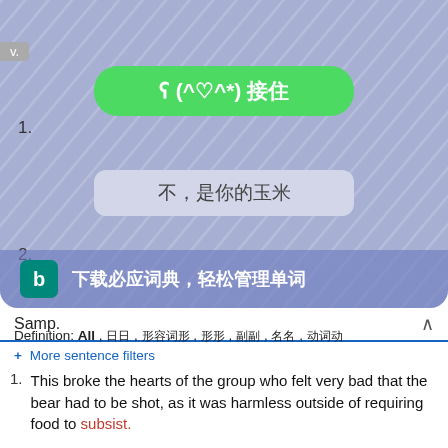[Figure (screenshot): Mobile app popup overlay with green button showing ʕ(^♡^*)接住, a gray button showing 不，是你的玉米, and a Bing dictionary banner 下载必应词典，轻松管理单词]
Definition: All , 日 , 形容词 , 形 , 副 , 名 , 动词
+ More sentence filters
1. This broke the hearts of the group who felt very bad that the bear had to be shot, as it was harmless outside of requiring food to subsist.
这击痛了小组成员们的心灵，在熊被射杀的时候，他们感觉非常沮丧，因为它是无恶意的，只是在外面寻找食物为生。
zhè jī tòng le xiǎo zǔ chéng yuán men de xīn líng , zài xióng bèi shè shā de shí hou , tā men gǎn jué fēi cháng zhī huài , yīn wèi tā shì wú è yì de , zhǐ shì zài wài miàn xún zhǎo shí wù wéi shēng。
dictsearch.appspot.com 🔊
2. Every symbolic expression like this one, of the being dead,